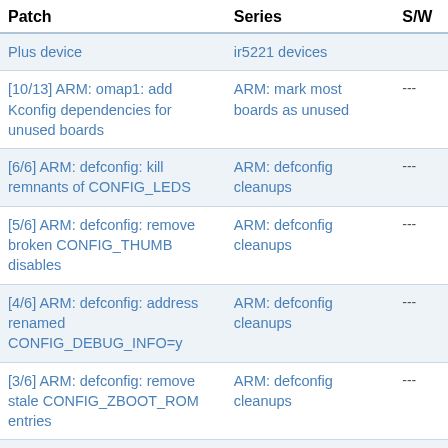| Patch | Series | S/W |
| --- | --- | --- |
| Plus device | ir5221 devices |  |
| [10/13] ARM: omap1: add Kconfig dependencies for unused boards | ARM: mark most boards as unused | --- |
| [6/6] ARM: defconfig: kill remnants of CONFIG_LEDS | ARM: defconfig cleanups | --- |
| [5/6] ARM: defconfig: remove broken CONFIG_THUMB disables | ARM: defconfig cleanups | --- |
| [4/6] ARM: defconfig: address renamed CONFIG_DEBUG_INFO=y | ARM: defconfig cleanups | --- |
| [3/6] ARM: defconfig: remove stale CONFIG_ZBOOT_ROM entries | ARM: defconfig cleanups | --- |
| [2/6] ARM: defconfig: remove irda remnants | ARM: defconfig cleanups | --- |
| clk/ti/adpll: remove useless comparison in ti_adpll_free_resources() | clk/ti/adpll: remove useless comparison in ti_adpll_free_resources() | --- |